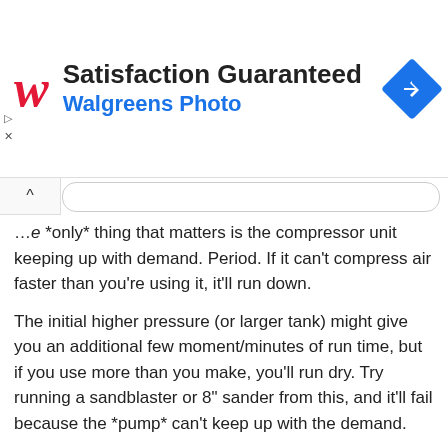[Figure (logo): Walgreens Photo advertisement banner with Walgreens logo, 'Satisfaction Guaranteed' title and 'Walgreens Photo' subtitle, and a blue navigation icon]
The *only* thing that matters is the compressor unit keeping up with demand. Period. If it can't compress air faster than you're using it, it'll run down.
The initial higher pressure (or larger tank) might give you an additional few moment/minutes of run time, but if you use more than you make, you'll run dry. Try running a sandblaster or 8" sander from this, and it'll fail because the *pump* can't keep up with the demand.
REPLY
Just a Guy
Sep 15, 2020
They did at least give it a larger pump (4.0 SCFM at